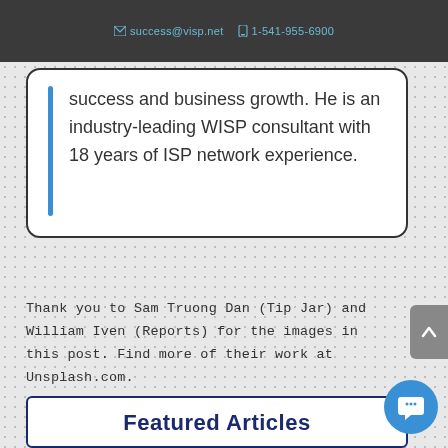success@visp.net  1-541-955-6900
[Figure (logo): visp.net billing and automation logo with footprint icon]
success and business growth. He is an industry-leading WISP consultant with 18 years of ISP network experience.
Thank you to Sam Truong Dan (Tip Jar) and William Iven (Reports) for the images in this post. Find more of their work at Unsplash.com.
Featured Articles